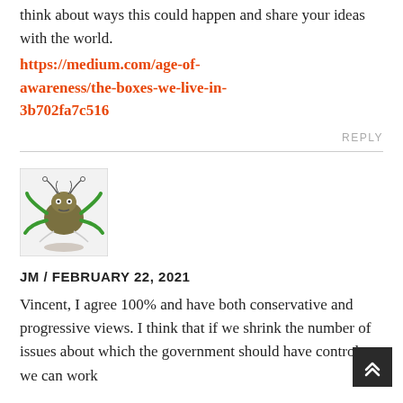think about ways this could happen and share your ideas with the world.
https://medium.com/age-of-awareness/the-boxes-we-live-in-3b702fa7c516
REPLY
[Figure (illustration): Cartoon illustration of a bug/insect with green appendages, antennae, and a dark olive-colored round body, with a shadow beneath it]
JM / FEBRUARY 22, 2021
Vincent, I agree 100% and have both conservative and progressive views. I think that if we shrink the number of issues about which the government should have control, we can work